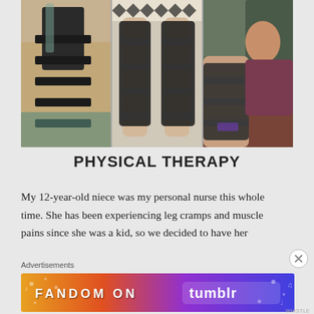[Figure (photo): Three side-by-side photos showing legs in orthopedic/leg braces and compression boots in different settings]
PHYSICAL THERAPY
My 12-year-old niece was my personal nurse this whole time. She has been experiencing leg cramps and muscle pains since she was a kid, so we decided to have her
Advertisements
[Figure (other): FANDOM ON tumblr advertisement banner with colorful gradient background]